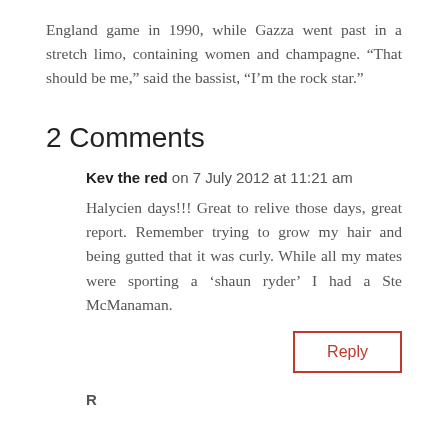England game in 1990, while Gazza went past in a stretch limo, containing women and champagne. “That should be me,” said the bassist, “I’m the rock star.”
2 Comments
Kev the red on 7 July 2012 at 11:21 am
Halycien days!!! Great to relive those days, great report. Remember trying to grow my hair and being gutted that it was curly. While all my mates were sporting a ‘shaun ryder’ I had a Ste McManaman.
Reply
R